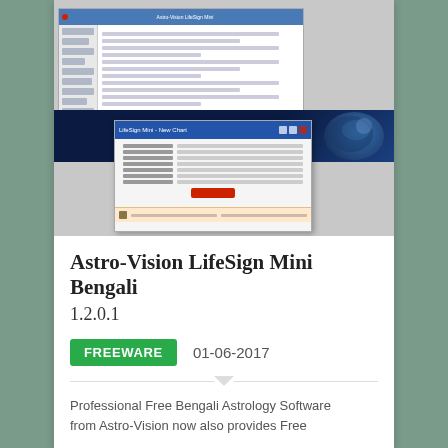[Figure (screenshot): Screenshot of Astro-Vision LifeSign Mini Bengali software showing the application window with sidebar, content area, dark blue banner, and an open dialog box with form fields and a red button.]
Astro-Vision LifeSign Mini Bengali 1.2.0.1
FREEWARE   01-06-2017
Professional Free Bengali Astrology Software from Astro-Vision now also provides Free